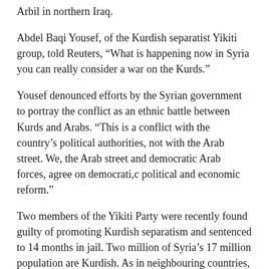Arbil in northern Iraq.
Abdel Baqi Yousef, of the Kurdish separatist Yikiti group, told Reuters, “What is happening now in Syria you can really consider a war on the Kurds.”
Yousef denounced efforts by the Syrian government to portray the conflict as an ethnic battle between Kurds and Arabs. “This is a conflict with the country’s political authorities, not with the Arab street. We, the Arab street and democratic Arab forces, agree on democrati,c political and economic reform.”
Two members of the Yikiti Party were recently found guilty of promoting Kurdish separatism and sentenced to 14 months in jail. Two million of Syria’s 17 million population are Kurdish. As in neighbouring countries, Kurdish language publications and broadcasts are banned, and 200,000 Kurds have been deprived of all citizenship